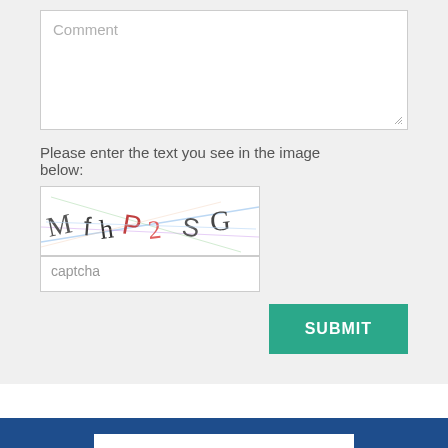[Figure (screenshot): Web form section with a Comment textarea (mostly empty, white background) with a resize handle, on a light gray background.]
Please enter the text you see in the image below:
[Figure (other): CAPTCHA image showing distorted text letters: M f h P 2 S G with colored lines through them.]
[Figure (screenshot): Captcha text input field with placeholder text 'captcha']
[Figure (screenshot): Green SUBMIT button]
The #SHRM22 Blog